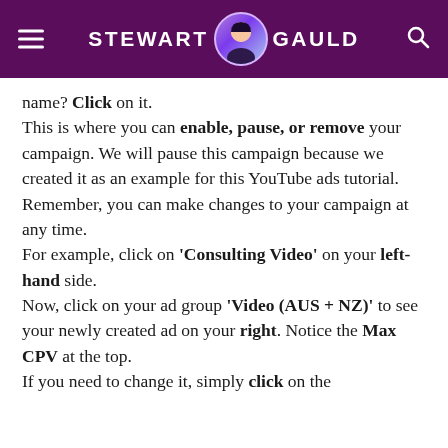STEWART GAULD
name? Click on it.
This is where you can enable, pause, or remove your campaign. We will pause this campaign because we created it as an example for this YouTube ads tutorial.
Remember, you can make changes to your campaign at any time.
For example, click on 'Consulting Video' on your left-hand side.
Now, click on your ad group 'Video (AUS + NZ)' to see your newly created ad on your right. Notice the Max CPV at the top.
If you need to change it, simply click on the